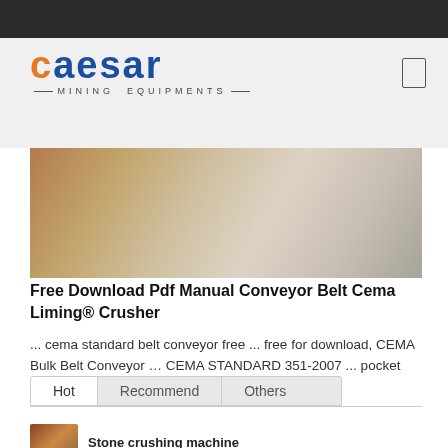CAESAR MINING EQUIPMENTS
[Figure (photo): Industrial construction or mining site with heavy equipment, beams and concrete structures visible]
Free Download Pdf Manual Conveyor Belt Cema Liming® Crusher
... cema standard belt conveyor free ... free for download, CEMA Bulk Belt Conveyor … CEMA STANDARD 351-2007 ... pocket belt conveyors; belts for hazemag crusher ...
Hot | Recommend | Others
Stone crushing machine